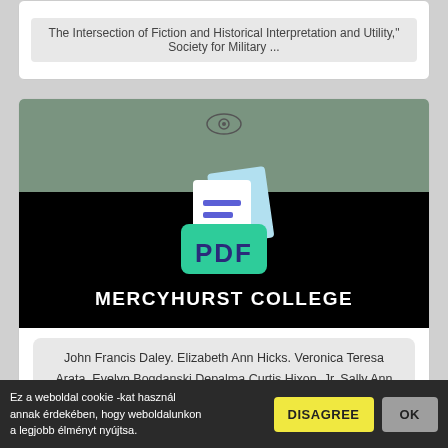The Intersection of Fiction and Historical Interpretation and Utility," Society for Military ...
[Figure (screenshot): PDF document icon with green folder and white pages, shown on black background with olive-green header area]
MERCYHURST COLLEGE
John Francis Daley. Elizabeth Ann Hicks. Veronica Teresa Arata. Evelyn Bogdanski Depalma Curtis Hixon, Jr. Sally Ann Barker. Patrick Blythe Devore.
Ez a weboldal cookie -kat használ annak érdekében, hogy weboldalunkon a legjobb élményt nyújtsa.